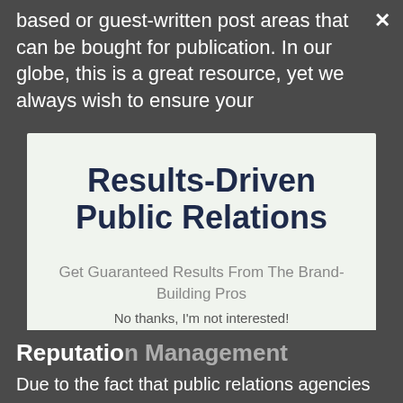based or guest-written post areas that can be bought for publication. In our globe, this is a great resource, yet we always wish to ensure your
×
Results-Driven Public Relations
Get Guaranteed Results From The Brand-Building Pros
BOOK NOW 👉
No thanks, I'm not interested!
Reputation Management
Due to the fact that public relations agencies